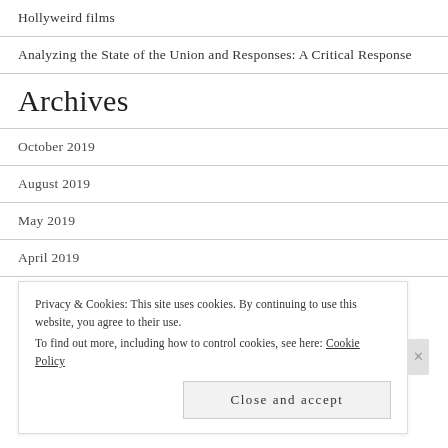Hollyweird films
Analyzing the State of the Union and Responses: A Critical Response
Archives
October 2019
August 2019
May 2019
April 2019
February 2019
Privacy & Cookies: This site uses cookies. By continuing to use this website, you agree to their use.
To find out more, including how to control cookies, see here: Cookie Policy
Close and accept